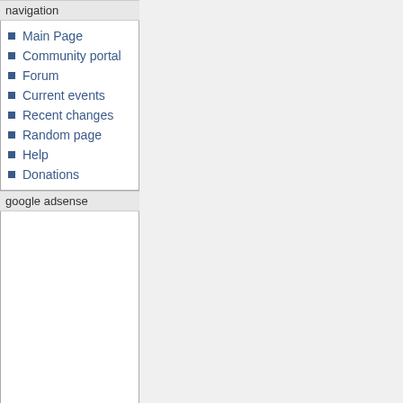navigation
Main Page
Community portal
Forum
Current events
Recent changes
Random page
Help
Donations
google adsense
[Figure (other): Google AdSense advertisement block (empty/placeholder white box)]
search